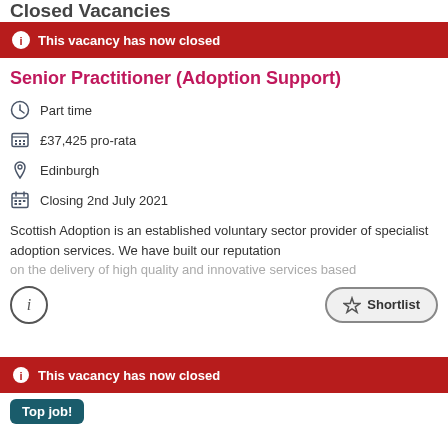Closed Vacancies
This vacancy has now closed
Senior Practitioner (Adoption Support)
Part time
£37,425 pro-rata
Edinburgh
Closing 2nd July 2021
Scottish Adoption is an established voluntary sector provider of specialist adoption services. We have built our reputation on the delivery of high quality and innovative services based
This vacancy has now closed
Top job!